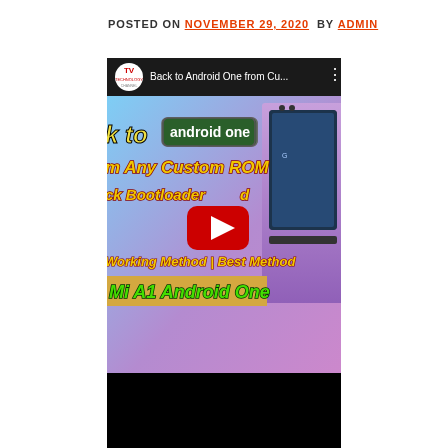POSTED ON NOVEMBER 29, 2020 BY ADMIN
[Figure (screenshot): YouTube video thumbnail for 'Back to Android One from Cu...' by Technology channel. Shows colorful thumbnail with text: 'Back to android one', 'From Any Custom ROM', 'Lock Bootloader', 'Working Method | Best Method', 'Mi A1 Android One'. Features a YouTube play button and image of a Xiaomi Mi A1 phone.]